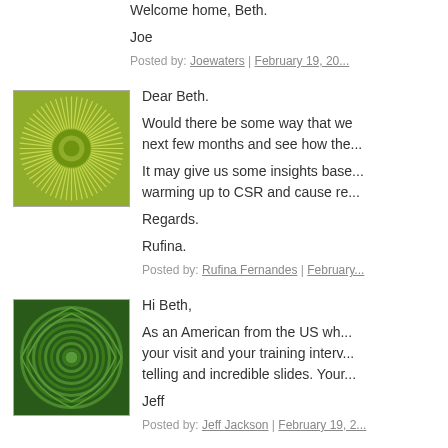Welcome home, Beth.
Joe
Posted by: Joewaters | February 19, 20...
[Figure (illustration): Green sunburst avatar icon with yellow-green radiating spokes and central circle on green background]
Dear Beth.
Would there be some way that we... next few months and see how the...
It may give us some insights base... warming up to CSR and cause re...
Regards.
Rufina.
Posted by: Rufina Fernandes | February...
[Figure (illustration): Green spiral/concentric circles avatar icon on dark green background]
Hi Beth,
As an American from the US wh... your visit and your training interv... telling and incredible slides. Your...
Jeff
Posted by: Jeff Jackson | February 19, 2...